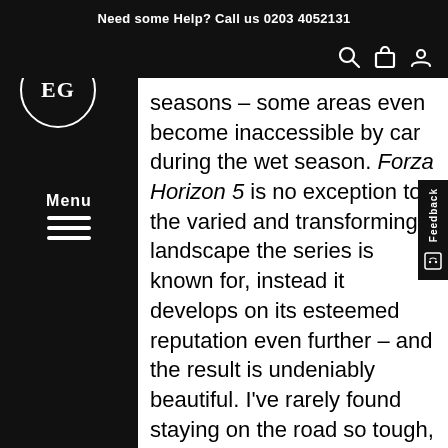Need some Help? Call us 0203 4052131
[Figure (logo): EG circular logo with text 'EG' inside a white circle on black background]
Menu
seasons – some areas even become inaccessible by car during the wet season. Forza Horizon 5 is no exception to the varied and transforming landscape the series is known for, instead it develops on its esteemed reputation even further – and the result is undeniably beautiful. I've rarely found staying on the road so tough, but it is so principally because our surroundings can't help but captivate us; blue skies are a rarer sight in the UK, rarer still are beach shacks gently lapped by crystal clear waves. It's a mouth-watering prospect for most of us, going as far to make us slightly jealous of our character drivers.